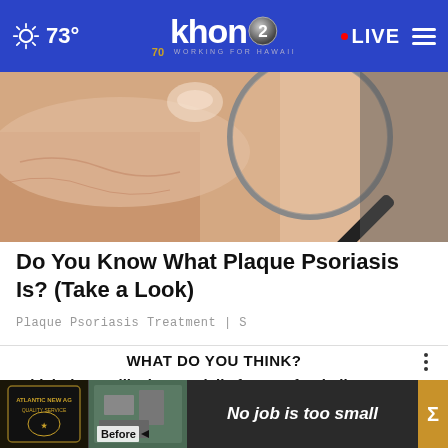khon2 WORKING FOR HAWAII | 73° | LIVE
[Figure (photo): Close-up photo of a hand held under a magnifying glass, showing skin detail, with a dark magnifying glass handle visible]
Do You Know What Plaque Psoriasis Is? (Take a Look)
Plaque Psoriasis Treatment | S
WHAT DO YOU THINK?
Which do you like better: daily fantasy football games, or season-long fantasy leagues? 🏈
Daily fantasy games
Season-long leag...
[Figure (photo): Advertisement banner: No job is too small — showing a contractor badge logo, aerial before/after photo, and gold arrow accent]